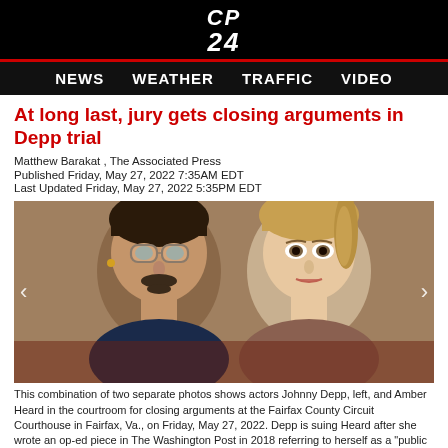CP 24
NEWS  WEATHER  TRAFFIC  VIDEO
At long last, jury gets closing arguments in Depp trial
Matthew Barakat , The Associated Press
Published Friday, May 27, 2022 7:35AM EDT
Last Updated Friday, May 27, 2022 5:35PM EDT
[Figure (photo): Combination photo of Johnny Depp (left) and Amber Heard in the courtroom for closing arguments at the Fairfax County Circuit Courthouse in Fairfax, Va., on Friday, May 27, 2022.]
This combination of two separate photos shows actors Johnny Depp, left, and Amber Heard in the courtroom for closing arguments at the Fairfax County Circuit Courthouse in Fairfax, Va., on Friday, May 27, 2022. Depp is suing Heard after she wrote an op-ed piece in The Washington Post in 2018 referring to herself as a "public figure